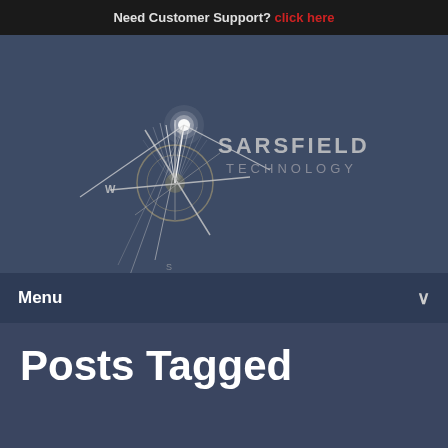Need Customer Support? click here
[Figure (logo): Sarsfield Technology compass rose logo with star burst on dark blue background]
Menu
Posts Tagged